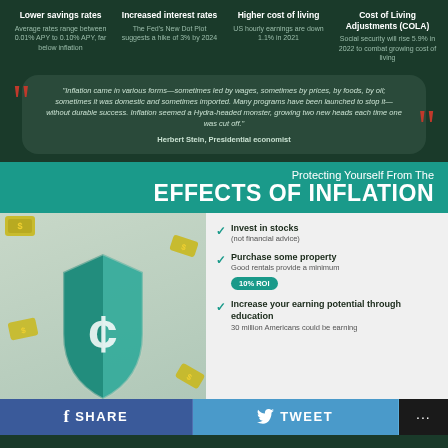Lower savings rates
Average rates range between 0.01% APY to 0.10% APY, far below inflation
Increased interest rates
The Fed's New Dot Plot suggests a hike of 3% by 2024
Higher cost of living
US hourly earnings are down 1.1% in 2021
Cost of Living Adjustments (COLA)
Social security will rise 5.9% in 2022 to combat growing cost of living
"Inflation came in various forms—sometimes led by wages, sometimes by prices, by foods, by oil; sometimes it was domestic and sometimes imported. Many programs have been launched to stop it—without durable success. Inflation seemed a Hydra-headed monster, growing two new heads each time one was cut off." Herbert Stein, Presidential economist
Protecting Yourself From The EFFECTS OF INFLATION
[Figure (illustration): Shield with dollar sign icon, with floating money bills around it]
Invest in stocks (not financial advice)
Purchase some property - Good rentals provide a minimum 10% ROI
Increase your earning potential through education - 30 million Americans could be earning
SHARE   TWEET   ...